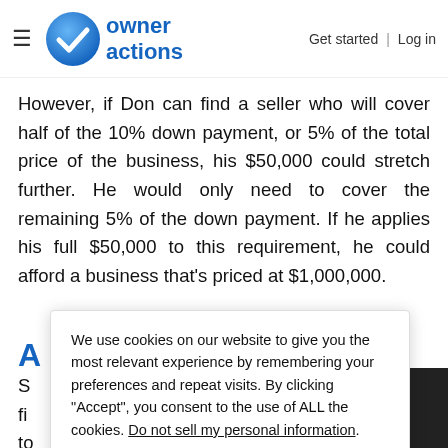owner actions | Get started | Log in
However, if Don can find a seller who will cover half of the 10% down payment, or 5% of the total price of the business, his $50,000 could stretch further. He would only need to cover the remaining 5% of the down payment. If he applies his full $50,000 to this requirement, he could afford a business that's priced at $1,000,000.
A
S... er financing... d to... of financing sellers provide that's applied to the down payment of the business cannot be repaid to the seller
We use cookies on our website to give you the most relevant experience by remembering your preferences and repeat visits. By clicking “Accept”, you consent to the use of ALL the cookies. Do not sell my personal information.